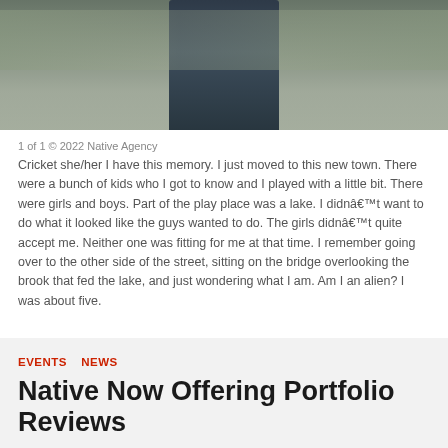[Figure (photo): Partial photograph of a person outdoors, showing lower body/torso area with grassy background, cropped at top of page]
1 of 1 © 2022 Native Agency
Cricket she/her I have this memory. I just moved to this new town. There were a bunch of kids who I got to know and I played with a little bit. There were girls and boys. Part of the play place was a lake. I didn’t want to do what it looked like the guys wanted to do. The girls didn’t quite accept me. Neither one was fitting for me at that time. I remember going over to the other side of the street, sitting on the bridge overlooking the brook that fed the lake, and just wondering what I am. Am I an alien? I was about five.
EVENTS   NEWS
Native Now Offering Portfolio Reviews